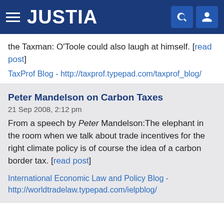JUSTIA
the Taxman: O'Toole could also laugh at himself. [read post]
TaxProf Blog - http://taxprof.typepad.com/taxprof_blog/
Peter Mandelson on Carbon Taxes
21 Sep 2008, 2:12 pm
From a speech by Peter Mandelson:The elephant in the room when we talk about trade incentives for the right climate policy is of course the idea of a carbon border tax. [read post]
International Economic Law and Policy Blog - http://worldtradelaw.typepad.com/ielpblog/